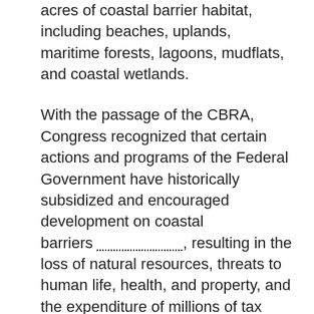acres of coastal barrier habitat, including beaches, uplands, maritime forests, lagoons, mudflats, and coastal wetlands.
With the passage of the CBRA, Congress recognized that certain actions and programs of the Federal Government have historically subsidized and encouraged development on coastal barriers , resulting in the loss of natural resources, threats to human life, health, and property, and the expenditure of millions of tax dollars each year. The CBRA seeks to save taxpayers' money, keep people out of harm's way, and remove federal incentives to develop coastal barriers by restricting most new federal expenditures and financial assistance for areas designated within the CBRS. The CBRA does not prohibit or regulate development; however, it wisely removes the Federal incentives to build on these unstable [Help improve this site]